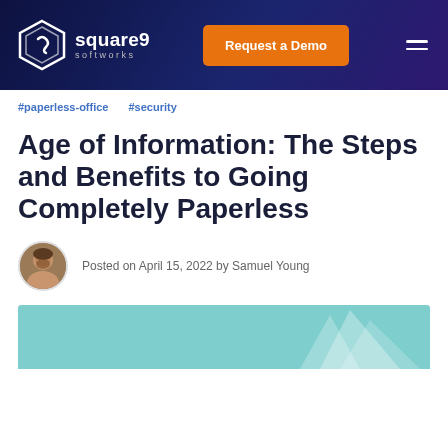Square 9 Softworks — Request a Demo
#paperless-office   #security
Age of Information: The Steps and Benefits to Going Completely Paperless
Posted on April 15, 2022 by Samuel Young
[Figure (illustration): Teal/light-blue decorative banner image at bottom of page with white graphic element]